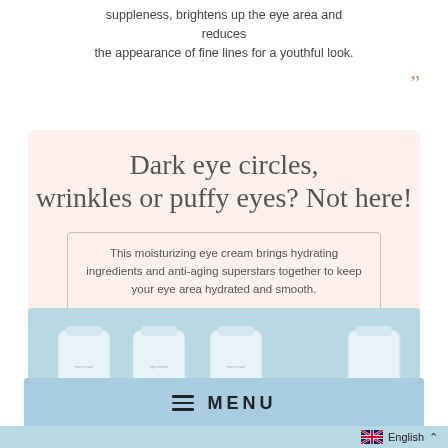suppleness, brightens up the eye area and reduces the appearance of fine lines for a youthful look.
Dark eye circles, wrinkles or puffy eyes? Not here!
This moisturizing eye cream brings hydrating ingredients and anti-aging superstars together to keep your eye area hydrated and smooth.
[Figure (photo): Row of white skincare tubes/squeeze bottles on a light blue background]
MENU
English